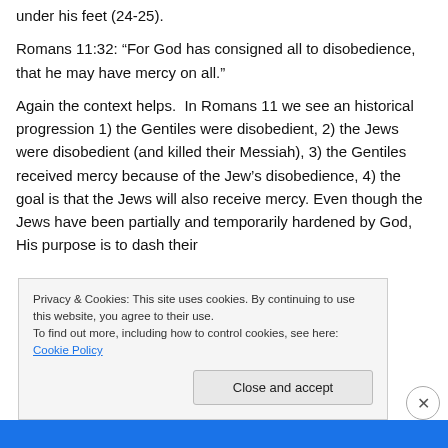under his feet (24-25).
Romans 11:32: “For God has consigned all to disobedience, that he may have mercy on all.”
Again the context helps. In Romans 11 we see an historical progression 1) the Gentiles were disobedient, 2) the Jews were disobedient (and killed their Messiah), 3) the Gentiles received mercy because of the Jew’s disobedience, 4) the goal is that the Jews will also receive mercy. Even though the Jews have been partially and temporarily hardened by God, His purpose is to dash their
Privacy & Cookies: This site uses cookies. By continuing to use this website, you agree to their use.
To find out more, including how to control cookies, see here: Cookie Policy